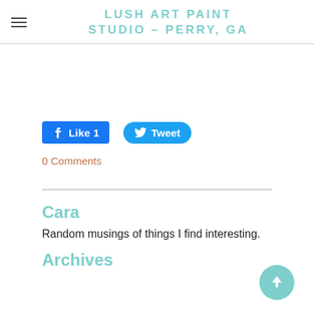LUSH ART PAINT STUDIO - PERRY, GA
[Figure (screenshot): Facebook Like button showing 'Like 1' count in blue]
[Figure (screenshot): Twitter Tweet button in blue rounded style]
0 Comments
Cara
Random musings of things I find interesting.
Archives